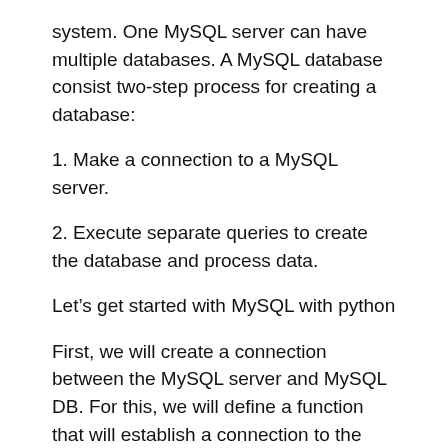system. One MySQL server can have multiple databases. A MySQL database consist two-step process for creating a database:
1. Make a connection to a MySQL server.
2. Execute separate queries to create the database and process data.
Let’s get started with MySQL with python
First, we will create a connection between the MySQL server and MySQL DB. For this, we will define a function that will establish a connection to the MySQL database server and will return the connection object: